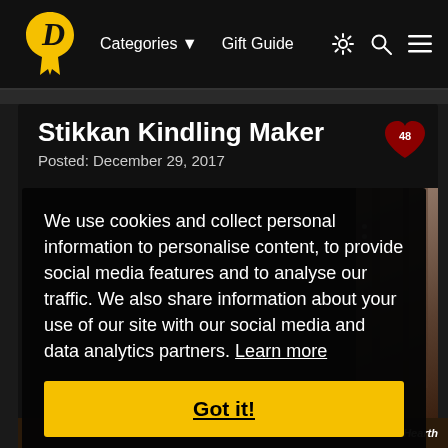Categories ▼   Gift Guide
Stikkan Kindling Maker
Posted: December 29, 2017
We use cookies and collect personal information to personalise content, to provide social media features and to analyse our traffic. We also share information about your use of our site with our social media and data analytics partners. Learn more
Got it!
[Figure (photo): Partial view of what appears to be a wooden kindling maker product, shown from the right side of the page]
Plow & Hearth